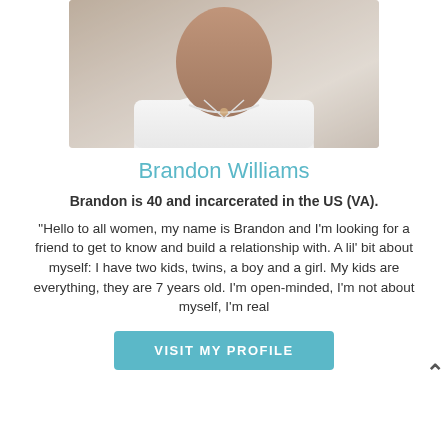[Figure (photo): Photo of Brandon Williams, a man wearing a white t-shirt, cropped at chest level, sitting in front of a light background]
Brandon Williams
Brandon is 40 and incarcerated in the US (VA).
"Hello to all women, my name is Brandon and I'm looking for a friend to get to know and build a relationship with. A lil' bit about myself: I have two kids, twins, a boy and a girl. My kids are everything, they are 7 years old. I'm open-minded, I'm not about myself, I'm real